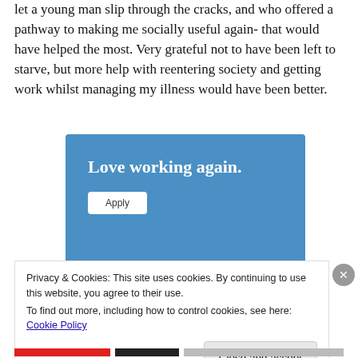let a young man slip through the cracks, and who offered a pathway to making me socially useful again- that would have helped the most. Very grateful not to have been left to starve, but more help with reentering society and getting work whilst managing my illness would have been better.
[Figure (other): Blue advertisement banner with bold white text reading 'Love working again.' and a white 'Apply' button.]
Privacy & Cookies: This site uses cookies. By continuing to use this website, you agree to their use.
To find out more, including how to control cookies, see here: Cookie Policy
Close and accept